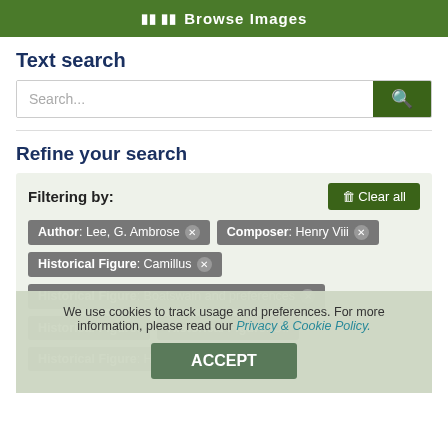Browse Images
Text search
Search...
Refine your search
Filtering by:
Author: Lee, G. Ambrose ×
Composer: Henry Viii ×
Historical Figure: Camillus ×
Historical Figure: Boatswain and preferences
Historical Figure: (partially visible)
Historical Figure: Off...
Historical Figure: He...
We use cookies to track usage and preferences. For more information, please read our Privacy & Cookie Policy.
ACCEPT